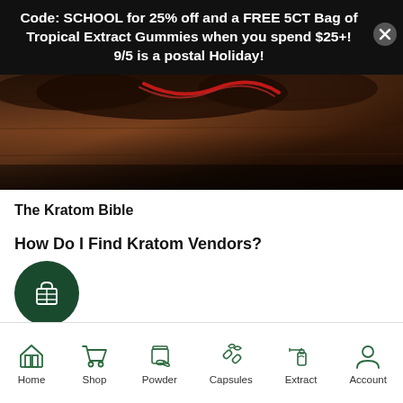Code: SCHOOL for 25% off and a FREE 5CT Bag of Tropical Extract Gummies when you spend $25+! 9/5 is a postal Holiday!
[Figure (photo): Dark overhead photo of kratom leaves or similar plant material on a wooden surface with a red ribbon accent]
The Kratom Bible
How Do I Find Kratom Vendors?
[Figure (illustration): Dark green circle with a shopping bag / store icon inside]
Home  Shop  Powder  Capsules  Extract  Account